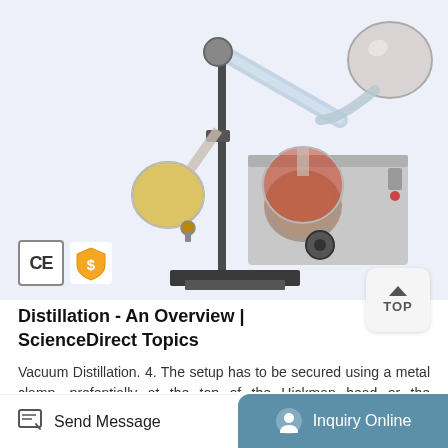[Figure (photo): Laboratory rotary evaporator / distillation apparatus with two round-bottom flasks (one with yellow liquid, one with red liquid), mounted on a metal stand with a heating water bath. CE certification mark and gold supplier badge visible at bottom left.]
Distillation - An Overview | ScienceDirect Topics
Vacuum Distillation. 4. The setup has to be secured using a metal clamp, prefentially at the top of the Hickman head or the aircondenser. 5. When performing a vacuum distillation, the following sequence should heating and evacuation should be